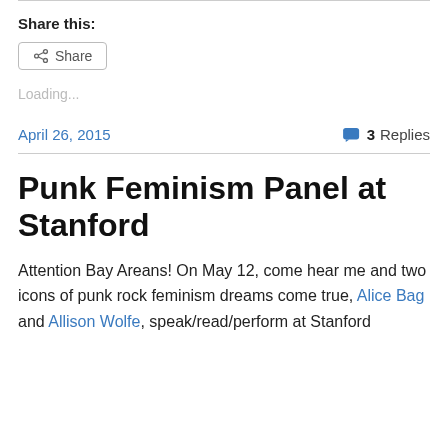Share this:
Share
Loading...
April 26, 2015
3 Replies
Punk Feminism Panel at Stanford
Attention Bay Areans! On May 12, come hear me and two icons of punk rock feminism dreams come true, Alice Bag and Allison Wolfe, speak/read/perform at Stanford